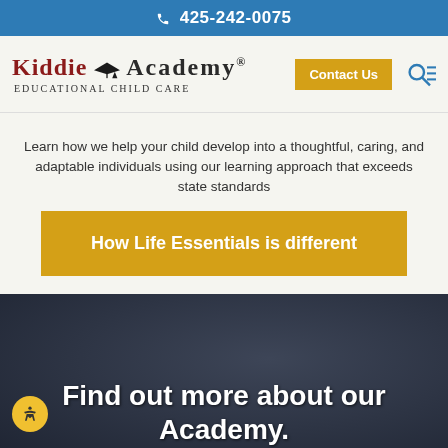📞 425-242-0075
[Figure (logo): Kiddie Academy Educational Child Care logo with graduation cap icon]
Learn how we help your child develop into a thoughtful, caring, and adaptable individuals using our learning approach that exceeds state standards
How Life Essentials is different
Find out more about our Academy.